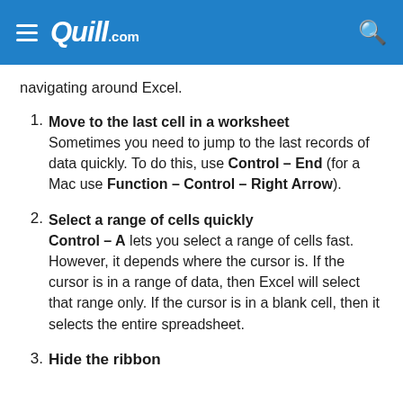Quill.com
navigating around Excel.
Move to the last cell in a worksheet Sometimes you need to jump to the last records of data quickly. To do this, use Control – End (for a Mac use Function – Control – Right Arrow).
Select a range of cells quickly Control – A lets you select a range of cells fast. However, it depends where the cursor is. If the cursor is in a range of data, then Excel will select that range only. If the cursor is in a blank cell, then it selects the entire spreadsheet.
Hide the ribbon